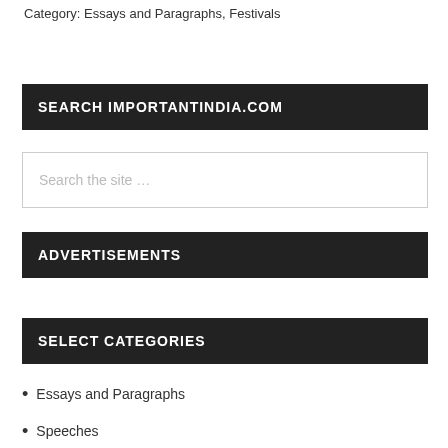Category: Essays and Paragraphs, Festivals
SEARCH IMPORTANTINDIA.COM
Search the site ...
ADVERTISEMENTS
SELECT CATEGORIES
Essays and Paragraphs
Speeches